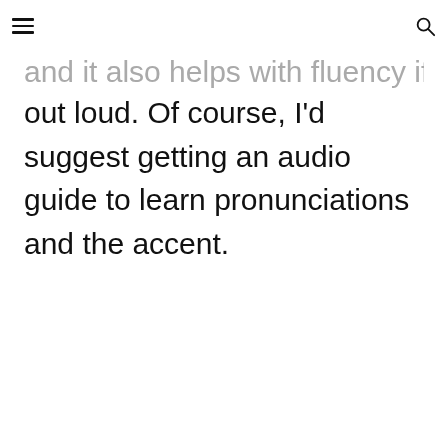and it also helps with fluency if you read it out loud. Of course, I'd suggest getting an audio guide to learn pronunciations and the accent.